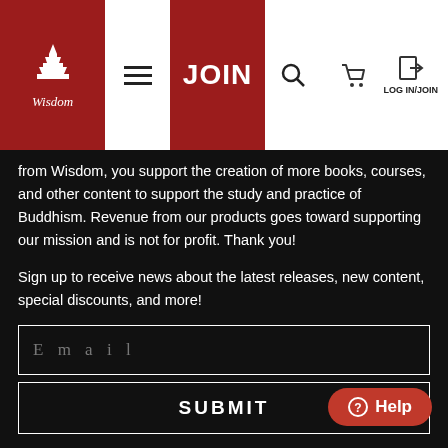Wisdom | JOIN | LOG IN/JOIN
from Wisdom, you support the creation of more books, courses, and other content to support the study and practice of Buddhism. Revenue from our products goes toward supporting our mission and is not for profit. Thank you!
Sign up to receive news about the latest releases, new content, special discounts, and more!
Email
SUBMIT
Contact
About
FAQ
The Wisdom Podcast